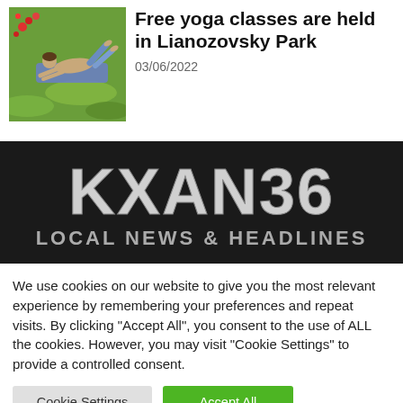[Figure (photo): Person doing yoga pose lying on grass in a park]
Free yoga classes are held in Lianozovsky Park
03/06/2022
[Figure (logo): KXAN36 LOCAL NEWS & HEADLINES logo on dark background]
We use cookies on our website to give you the most relevant experience by remembering your preferences and repeat visits. By clicking "Accept All", you consent to the use of ALL the cookies. However, you may visit "Cookie Settings" to provide a controlled consent.
Cookie Settings | Accept All